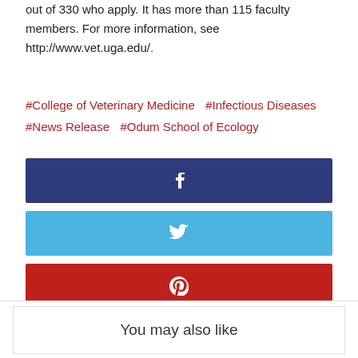out of 330 who apply. It has more than 115 faculty members. For more information, see http://www.vet.uga.edu/.
#College of Veterinary Medicine  #Infectious Diseases  #News Release  #Odum School of Ecology
[Figure (other): Facebook share button (dark navy blue)]
[Figure (other): Twitter share button (light blue)]
[Figure (other): Pinterest share button (red)]
[Figure (other): LinkedIn share button (medium blue)]
You may also like